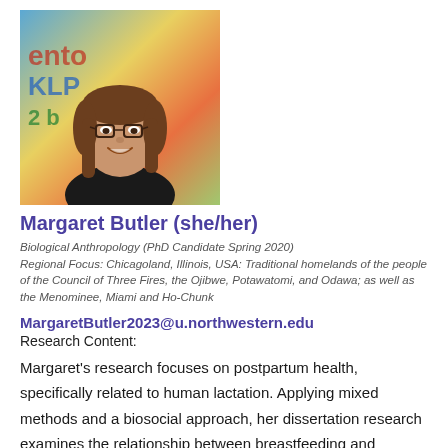[Figure (photo): Photo of Margaret Butler, a young woman with glasses and brown hair, smiling, wearing a black top, with colorful background]
Margaret Butler (she/her)
Biological Anthropology (PhD Candidate Spring 2020)
Regional Focus: Chicagoland, Illinois, USA: Traditional homelands of the people of the Council of Three Fires, the Ojibwe, Potawatomi, and Odawa; as well as the Menominee, Miami and Ho-Chunk
MargaretButler2023@u.northwestern.edu
Research Content:
Margaret's research focuses on postpartum health, specifically related to human lactation. Applying mixed methods and a biosocial approach, her dissertation research examines the relationship between breastfeeding and postpartum depression among